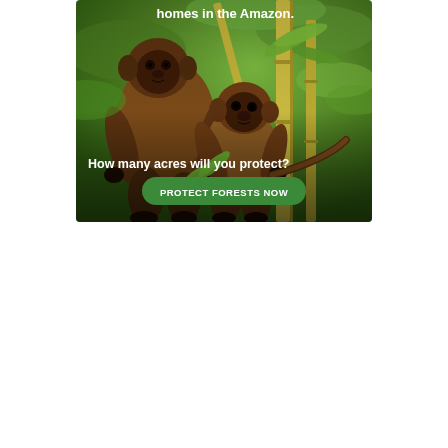[Figure (photo): Advertisement banner featuring two brown woolly monkeys (titi monkeys) on bamboo branches in an Amazon rainforest setting. Text overlay reads 'homes in the Amazon.' at the top, 'How many acres will you protect?' in the middle-lower area, and a green button labeled 'PROTECT FORESTS NOW' at the bottom.]